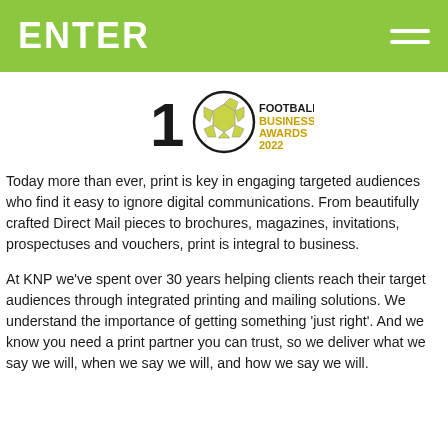ENTER
[Figure (logo): Football Business Awards 2022 logo with number 10 and soccer ball graphic]
Today more than ever, print is key in engaging targeted audiences who find it easy to ignore digital communications. From beautifully crafted Direct Mail pieces to brochures, magazines, invitations, prospectuses and vouchers, print is integral to business.
At KNP we've spent over 30 years helping clients reach their target audiences through integrated printing and mailing solutions. We understand the importance of getting something 'just right'. And we know you need a print partner you can trust, so we deliver what we say we will, when we say we will, and how we say we will.